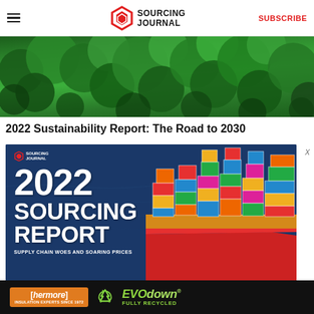Sourcing Journal — SUBSCRIBE
[Figure (photo): Aerial view of a dense green forest with tree canopy]
2022 Sustainability Report: The Road to 2030
[Figure (photo): 2022 Sourcing Report cover image: container ship loaded with colorful shipping containers on blue water, overlaid with bold white text reading '2022 SOURCING REPORT — SUPPLY CHAIN WOES AND SOARING PRICES', with Sourcing Journal logo in top-left corner]
[Figure (photo): Thermore EVO down advertisement banner: orange background with Thermore brand name, recycling icon, and EVO down fully recycled text in green on black background]